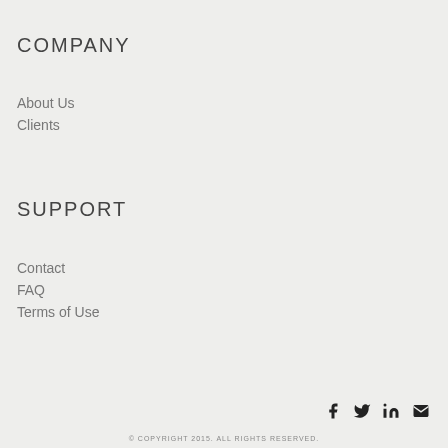COMPANY
About Us
Clients
SUPPORT
Contact
FAQ
Terms of Use
© COPYRIGHT 2015. ALL RIGHTS RESERVED.